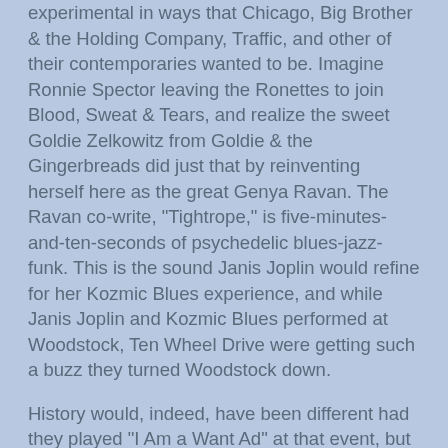experimental in ways that Chicago, Big Brother & the Holding Company, Traffic, and other of their contemporaries wanted to be. Imagine Ronnie Spector leaving the Ronettes to join Blood, Sweat & Tears, and realize the sweet Goldie Zelkowitz from Goldie & the Gingerbreads did just that by reinventing herself here as the great Genya Ravan. The Ravan co-write, "Tightrope," is five-minutes-and-ten-seconds of psychedelic blues-jazz-funk. This is the sound Janis Joplin would refine for her Kozmic Blues experience, and while Janis Joplin and Kozmic Blues performed at Woodstock, Ten Wheel Drive were getting such a buzz they turned Woodstock down.
History would, indeed, have been different had they played "I Am a Want Ad" at that event, but with Sid Bernstein as co-manager, and songs like "Lapidary," the band had a lot going for it. "Lapidary" is a complete about face, Traffic's "John Barleycorn" with a female vocalist. "Eye of the Needle," on the other hand, was an eight-minute-plus show stopper of horns and guitars that come in like some country's national anthem. With Ravan's amazing wail at the end, it becomes powerful stuff. Songwriter Louie Hoff got to arrange his "Candy Man Blues," which puts Ravan in a nightclub setting